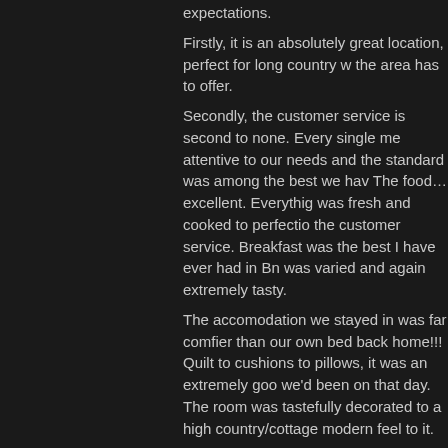expectations.
Firstly, it is an absolutely great location, perfect for long country w... the area has to offer.
Secondly, the customer service is second to none. Every single me... attentive to our needs and the standard was among the best we hav... The food…excellent. Everythig was fresh and cooked to perfectio... the customer service. Breakfast was the best I have ever had in Bn... was varied and again extremely tasty.
The accomodation we stayed in was far comfier than our own bed back home!!! Quilt to cushions to pillows, it was an extremely goo... we'd been on that day. The room was tastefully decorated to a high country/cottage modern feel to it.
As a by issue for anyone with dogs…dog friendly and ours loved i... accomodating for our four legged baby boy!
All in all an extremely lovely trip and we will definitely be back a... family alike.
Posted in feedback | Tagged lake district bed and breakfast, lakes b&b, la... penthouse suites in lake district, the wilsons, torver coniston, torver pubs...